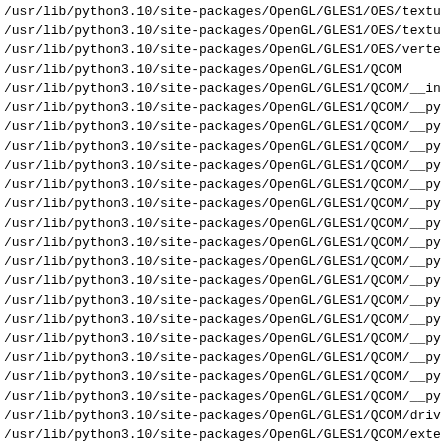/usr/lib/python3.10/site-packages/OpenGL/GLES1/OES/textu
/usr/lib/python3.10/site-packages/OpenGL/GLES1/OES/textu
/usr/lib/python3.10/site-packages/OpenGL/GLES1/OES/verte
/usr/lib/python3.10/site-packages/OpenGL/GLES1/QCOM
/usr/lib/python3.10/site-packages/OpenGL/GLES1/QCOM/__in
/usr/lib/python3.10/site-packages/OpenGL/GLES1/QCOM/__py
/usr/lib/python3.10/site-packages/OpenGL/GLES1/QCOM/__py
/usr/lib/python3.10/site-packages/OpenGL/GLES1/QCOM/__py
/usr/lib/python3.10/site-packages/OpenGL/GLES1/QCOM/__py
/usr/lib/python3.10/site-packages/OpenGL/GLES1/QCOM/__py
/usr/lib/python3.10/site-packages/OpenGL/GLES1/QCOM/__py
/usr/lib/python3.10/site-packages/OpenGL/GLES1/QCOM/__py
/usr/lib/python3.10/site-packages/OpenGL/GLES1/QCOM/__py
/usr/lib/python3.10/site-packages/OpenGL/GLES1/QCOM/__py
/usr/lib/python3.10/site-packages/OpenGL/GLES1/QCOM/__py
/usr/lib/python3.10/site-packages/OpenGL/GLES1/QCOM/__py
/usr/lib/python3.10/site-packages/OpenGL/GLES1/QCOM/__py
/usr/lib/python3.10/site-packages/OpenGL/GLES1/QCOM/__py
/usr/lib/python3.10/site-packages/OpenGL/GLES1/QCOM/__py
/usr/lib/python3.10/site-packages/OpenGL/GLES1/QCOM/__py
/usr/lib/python3.10/site-packages/OpenGL/GLES1/QCOM/__py
/usr/lib/python3.10/site-packages/OpenGL/GLES1/QCOM/driv
/usr/lib/python3.10/site-packages/OpenGL/GLES1/QCOM/exte
/usr/lib/python3.10/site-packages/OpenGL/GLES1/QCOM/exte
/usr/lib/python3.10/site-packages/OpenGL/GLES1/QCOM/perf
/usr/lib/python3.10/site-packages/OpenGL/GLES1/QCOM/tile
/usr/lib/python3.10/site-packages/OpenGL/GLES1/QCOM/writ
/usr/lib/python3.10/site-packages/OpenGL/GLES1/VERSION
/usr/lib/python3.10/site-packages/OpenGL/GLES1/VERSION/G
/usr/lib/python3.10/site-packages/OpenGL/GLES1/VERSION/_
/usr/lib/python3.10/site-packages/OpenGL/GLES1/VERSION/_
/usr/lib/python3.10/site-packages/OpenGL/GLES1/VERSION/_